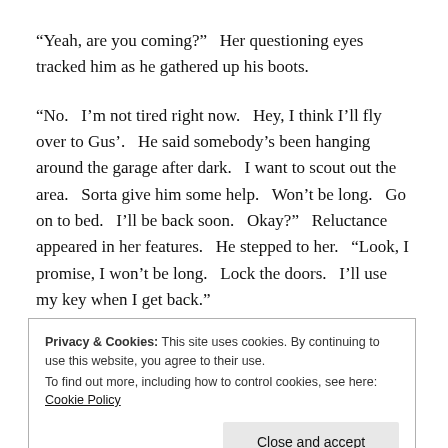“Yeah, are you coming?”  Her questioning eyes tracked him as he gathered up his boots.
“No.  I’m not tired right now.  Hey, I think I’ll fly over to Gus’.  He said somebody’s been hanging around the garage after dark.  I want to scout out the area.  Sorta give him some help.  Won’t be long.  Go on to bed.  I’ll be back soon.  Okay?”  Reluctance appeared in her features.  He stepped to her.  “Look, I promise, I won’t be long.  Lock the doors.  I’ll use my key when I get back.”
Privacy & Cookies: This site uses cookies. By continuing to use this website, you agree to their use.
To find out more, including how to control cookies, see here: Cookie Policy
The one word grazed across the rawness of having lied to